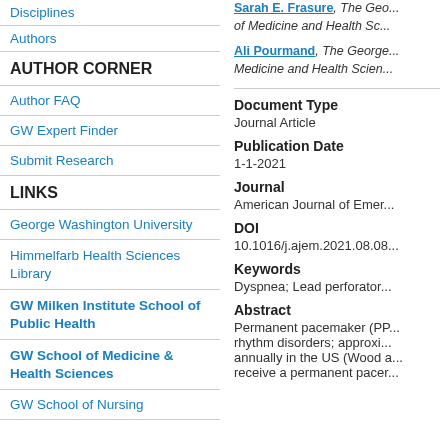Disciplines
Authors
AUTHOR CORNER
Author FAQ
GW Expert Finder
Submit Research
LINKS
George Washington University
Himmelfarb Health Sciences Library
GW Milken Institute School of Public Health
GW School of Medicine & Health Sciences
GW School of Nursing
Sarah E. Frasure, The Geo... of Medicine and Health Sc...
Ali Pourmand, The George... Medicine and Health Scien...
Document Type
Journal Article
Publication Date
1-1-2021
Journal
American Journal of Emer...
DOI
10.1016/j.ajem.2021.08.08...
Keywords
Dyspnea; Lead perforator...
Abstract
Permanent pacemaker (PP... rhythm disorders; approxi... annually in the US (Wood a... receive a permanent pacer...